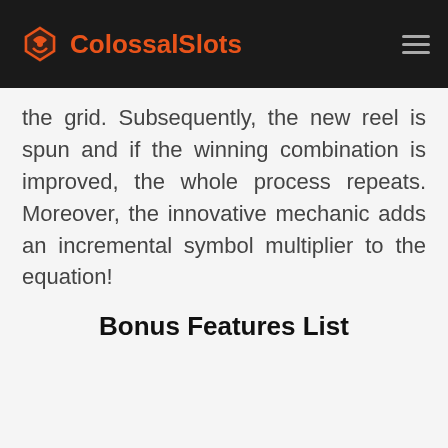ColossalSlots
the grid. Subsequently, the new reel is spun and if the winning combination is improved, the whole process repeats. Moreover, the innovative mechanic adds an incremental symbol multiplier to the equation!
Bonus Features List